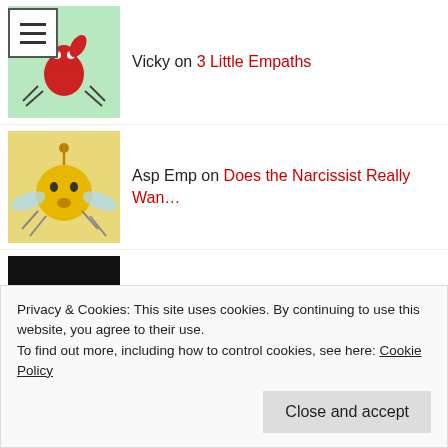Vicky on 3 Little Empaths
Asp Emp on Does the Narcissist Really Wan…
Leigh on Outnumbered Not Outgunned
StrongerWendy on Outnumbered Not Outgunned
aspemp on Hiding from Yourself
Truthseeker6157 on Hiding from Yourself
Privacy & Cookies: This site uses cookies. By continuing to use this website, you agree to their use.
To find out more, including how to control cookies, see here: Cookie Policy
Close and accept